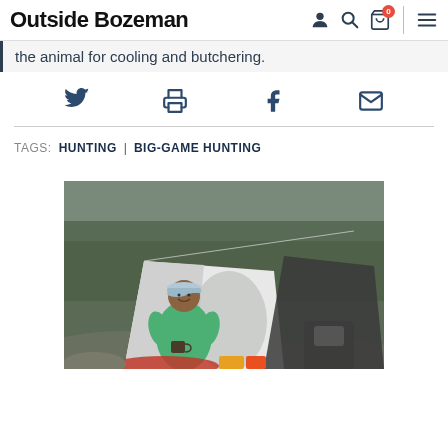Outside Bozeman
the animal for cooling and butchering.
Social share icons: Twitter, Print, Facebook, Email
TAGS: HUNTING | BIG-GAME HUNTING
[Figure (photo): Person sitting in front of a tent at a campsite, wearing a green jacket and cap, holding a mug, with camping gear around them.]